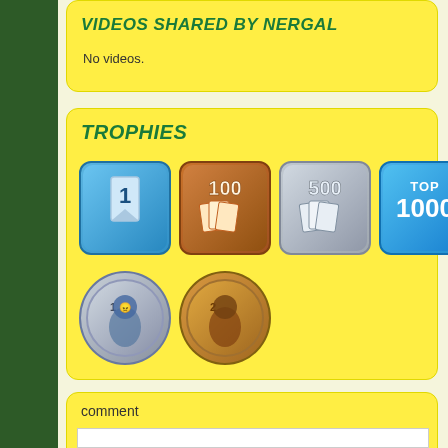VIDEOS SHARED BY NERGAL
No videos.
TROPHIES
[Figure (illustration): Row of trophy/achievement badges: a blue badge with number 1 and bookmark, a bronze badge with 100 and cards, a silver badge with 500 and cards, a blue badge with TOP 1000, a red badge with Drunk Duck logo, two blue speech bubble badges, then a second row with a silver coin badge with #1 character, and a bronze coin badge with #2 character]
comment